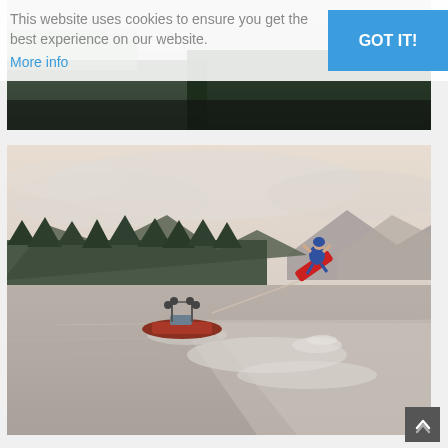[Figure (photo): Partial view of a boat on water, motion-blurred, dark tones — top hero image behind cookie banner]
This website uses cookies to ensure you get the best experience on our website.
More info
GOT IT!
[Figure (photo): Wakeboarding scene on a lake: a wakeboarder performing an aerial trick to the right, pulled by a boat on the left. Background shows forested hills and mountains under a cloudy sky.]